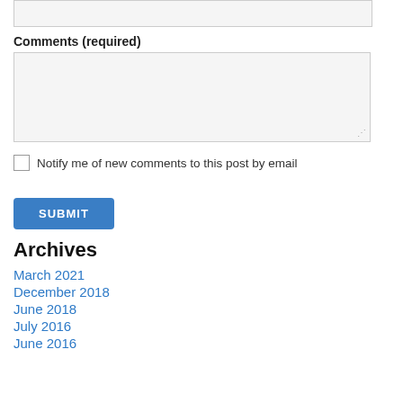[Figure (other): Input text field (top, partially visible)]
Comments (required)
[Figure (other): Textarea input box for comments]
Notify me of new comments to this post by email
[Figure (other): SUBMIT button]
Archives
March 2021
December 2018
June 2018
July 2016
June 2016